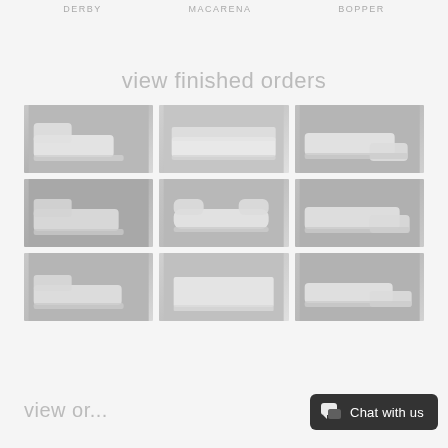DERBY
MACARENA
BOPPER
view finished orders
[Figure (photo): Grid of 9 photos showing white upholstered sofas and sectionals in a manufacturing/warehouse environment]
view or...
Chat with us